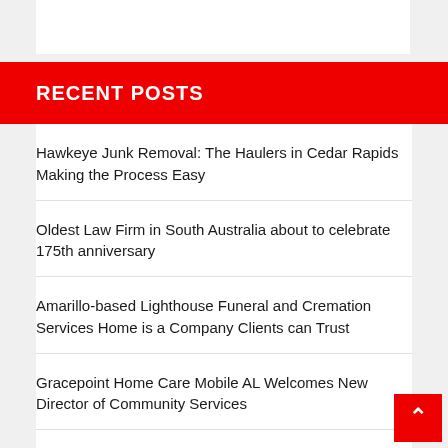RECENT POSTS
Hawkeye Junk Removal: The Haulers in Cedar Rapids Making the Process Easy
Oldest Law Firm in South Australia about to celebrate 175th anniversary
Amarillo-based Lighthouse Funeral and Cremation Services Home is a Company Clients can Trust
Gracepoint Home Care Mobile AL Welcomes New Director of Community Services
Cactus Plumbing and Air, a Top-Rated Plumber in